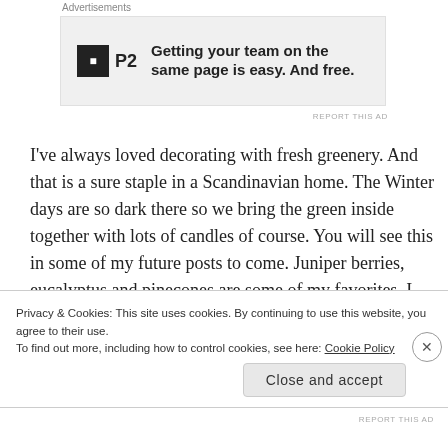Advertisements
[Figure (other): P2 advertisement banner: square black icon with 'P2' text, with bold text 'Getting your team on the same page is easy. And free.']
REPORT THIS AD
I've always loved decorating with fresh greenery. And that is a sure staple in a Scandinavian home. The Winter days are so dark there so we bring the green inside together with lots of candles of course. You will see this in some of my future posts to come. Juniper berries, eucalyptus and pinecones are some of my favorites. I just love the juniper though...I remember when I was about 7 years old at school in Denmark playing outside in the wintertime, and there was this enormous juniper bush. I saved many of my friends from
Privacy & Cookies: This site uses cookies. By continuing to use this website, you agree to their use.
To find out more, including how to control cookies, see here: Cookie Policy
Close and accept
REPORT THIS AD